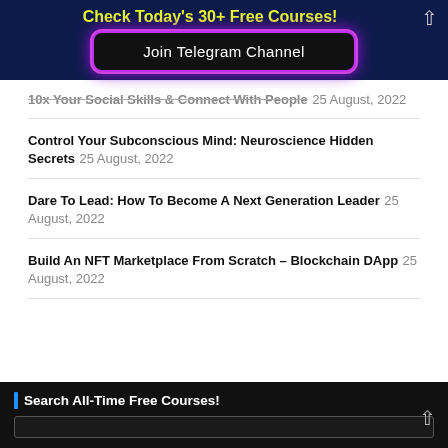Check Today's 30+ Free Courses!
[Figure (other): Join Telegram Channel button with neon purple/pink glow border on dark background]
10x Your Social Skills & Connect With People 25 August, 2022
Control Your Subconscious Mind: Neuroscience Hidden Secrets 25 August, 2022
Dare To Lead: How To Become A Next Generation Leader 25 August, 2022
Build An NFT Marketplace From Scratch – Blockchain DApp 25 August, 2022
Search All-Time Free Courses!